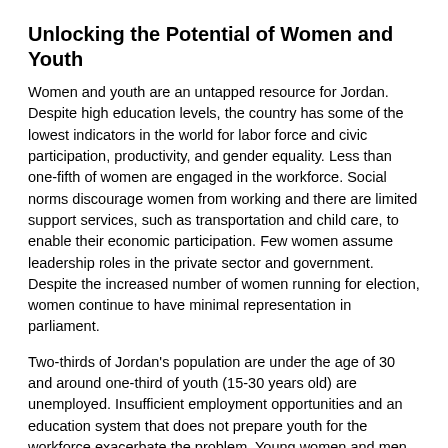Unlocking the Potential of Women and Youth
Women and youth are an untapped resource for Jordan. Despite high education levels, the country has some of the lowest indicators in the world for labor force and civic participation, productivity, and gender equality. Less than one-fifth of women are engaged in the workforce. Social norms discourage women from working and there are limited support services, such as transportation and child care, to enable their economic participation. Few women assume leadership roles in the private sector and government. Despite the increased number of women running for election, women continue to have minimal representation in parliament.
Two-thirds of Jordan's population are under the age of 30 and around one-third of youth (15-30 years old) are unemployed. Insufficient employment opportunities and an education system that does not prepare youth for the workforce exacerbate the problem. Young women and men have limited opportunities for political and civic engagement and lack access to resources and support services. This affects their ability and motivation to effect positive change in their communities, which leads to apathy and frustration. USAID programming encourages and facilitates